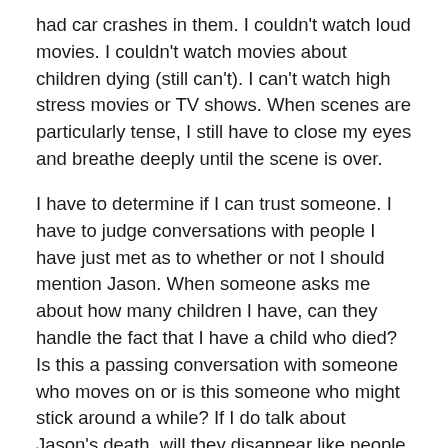had car crashes in them. I couldn't watch loud movies. I couldn't watch movies about children dying (still can't). I can't watch high stress movies or TV shows. When scenes are particularly tense, I still have to close my eyes and breathe deeply until the scene is over.
I have to determine if I can trust someone. I have to judge conversations with people I have just met as to whether or not I should mention Jason. When someone asks me about how many children I have, can they handle the fact that I have a child who died? Is this a passing conversation with someone who moves on or is this someone who might stick around a while? If I do talk about Jason's death, will they disappear like people did just after Jason died? Can I trust this person enough with my heart to believe that they won't inflict further hurt? Will they not shatter my trust? Who can I trust?